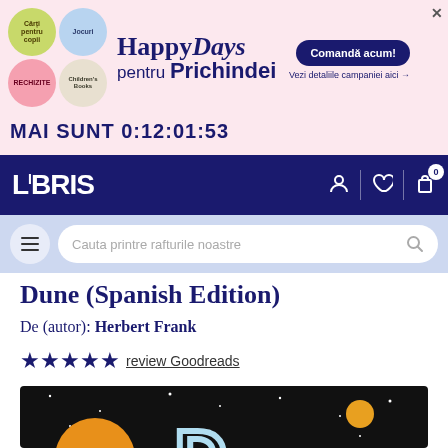[Figure (illustration): HappyDays pentru Prichindei promotional banner with colorful circles (Cărți pentru copii, Jocuri, Rechizite, Children's Books) and a 'Comandă acum!' button. Countdown timer: MAI SUNT 0:12:01:53]
MAI SUNT 0:12:01:53
[Figure (logo): LIBRIS logo in white on dark navy background with user, heart, and cart icons]
[Figure (screenshot): Search bar with hamburger menu button and placeholder text 'Cauta printre rafturile noastre']
Dune (Spanish Edition)
De (autor): Herbert Frank
★★★★★ review Goodreads
[Figure (illustration): Book cover for Dune showing a dark space scene with orange desert dunes, two planets/moons, white dots as stars, and a large letter D in light blue outline in the center]